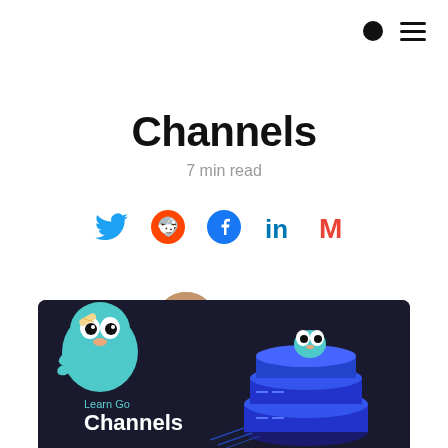Channels
7 min read
[Figure (infographic): Social share icons: Twitter (blue bird), Reddit (orange alien), Facebook (blue f), LinkedIn (blue in), Gmail (red M)]
[Figure (photo): Author avatar: Karan Pratap Singh circular profile photo]
Karan Pratap Singh
@karan_6864
[Figure (illustration): Dark banner with Go gopher mascot characters and stacked server blocks in blue/purple, with text 'Learn Go' and 'Channels']